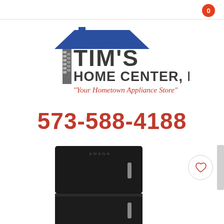0
[Figure (logo): Tim's Home Center, LLC logo with house roof icon, blue and dark gray text, tagline: Your Hometown Appliance Store]
573-588-4188
[Figure (photo): Amana black top-freezer refrigerator product photo on white background]